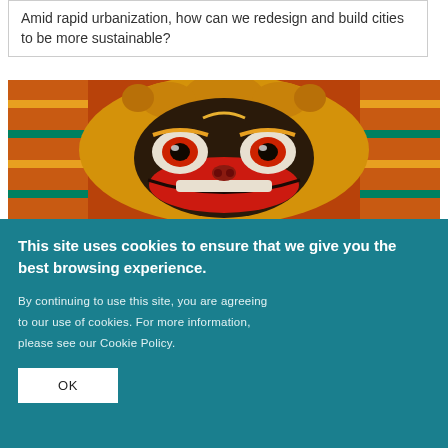Amid rapid urbanization, how can we redesign and build cities to be more sustainable?
[Figure (photo): Close-up photograph of a colorful traditional Asian decorative mask with large eyes, red mouth, and ornate gold details against a colorful background.]
This site uses cookies to ensure that we give you the best browsing experience.
By continuing to use this site, you are agreeing to our use of cookies. For more information, please see our Cookie Policy.
OK